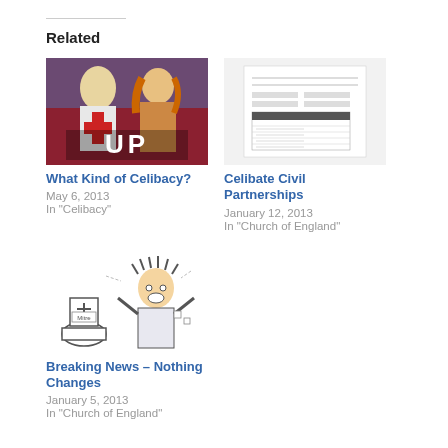Related
[Figure (illustration): Movie poster style illustration with a crusader knight and woman, with text 'UP' at bottom]
What Kind of Celibacy?
May 6, 2013
In "Celibacy"
[Figure (illustration): Image of a form or official document with table rows and fields]
Celibate Civil Partnerships
January 12, 2013
In "Church of England"
[Figure (illustration): Cartoon of a shocked bishop figure next to a toilet with a mitre/bishop hat on the tank labeled 'Mitre']
Breaking News – Nothing Changes
January 5, 2013
In "Church of England"